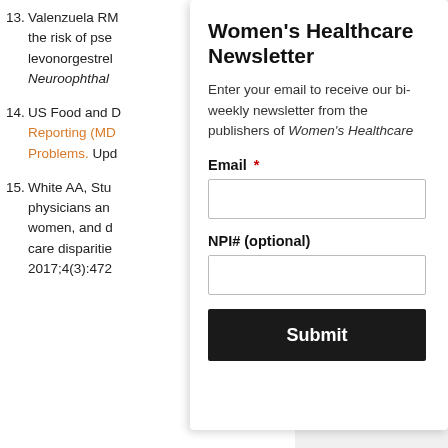13. Valenzuela RM... the risk of pse... levonorgestrel... Neuroophthal...
14. US Food and D... Reporting (MD... Problems. Upd...
15. White AA, Stu... physicians an... women, and d... care disparitie... 2017;4(3):472...
Women's Healthcare Newsletter
Enter your email to receive our bi-weekly newsletter from the publishers of Women's Healthcare
Email *
NPI# (optional)
Submit